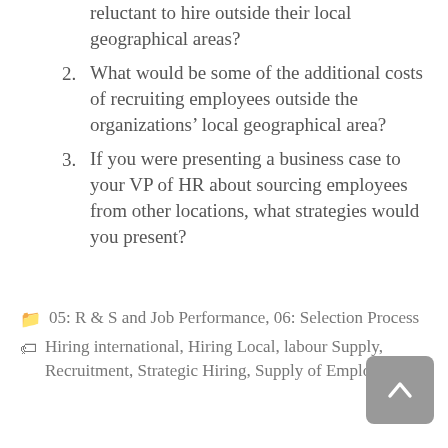reluctant to hire outside their local geographical areas?
2. What would be some of the additional costs of recruiting employees outside the organizations’ local geographical area?
3. If you were presenting a business case to your VP of HR about sourcing employees from other locations, what strategies would you present?
🗁 05: R & S and Job Performance, 06: Selection Process
🏷 Hiring international, Hiring Local, labour Supply, Recruitment, Strategic Hiring, Supply of Employees